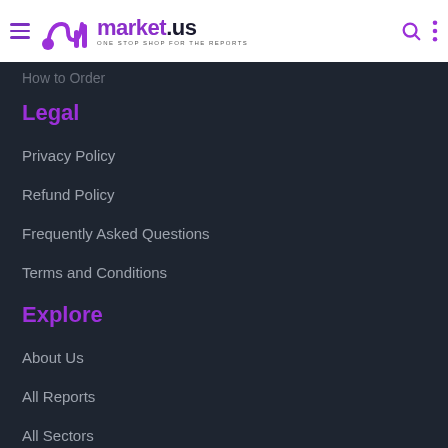market.us — ONE STOP SHOP FOR THE REPORTS
How to Order
Legal
Privacy Policy
Refund Policy
Frequently Asked Questions
Terms and Conditions
Explore
About Us
All Reports
All Sectors